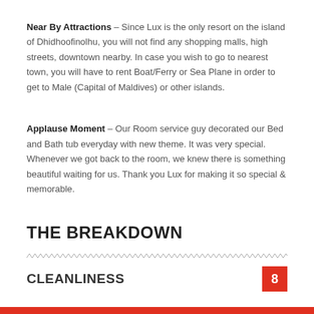Near By Attractions – Since Lux is the only resort on the island of Dhidhoofinolhu, you will not find any shopping malls, high streets, downtown nearby. In case you wish to go to nearest town, you will have to rent Boat/Ferry or Sea Plane in order to get to Male (Capital of Maldives) or other islands.
Applause Moment – Our Room service guy decorated our Bed and Bath tub everyday with new theme. It was very special. Whenever we got back to the room, we knew there is something beautiful waiting for us. Thank you Lux for making it so special & memorable.
THE BREAKDOWN
CLEANLINESS
8